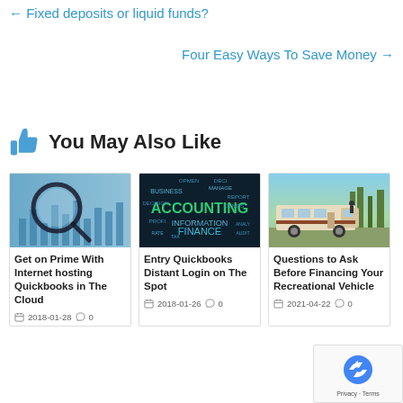← Fixed deposits or liquid funds?
Four Easy Ways To Save Money →
👍 You May Also Like
[Figure (photo): Magnifying glass over financial charts and spreadsheets, blue tones]
Get on Prime With Internet hosting Quickbooks in The Cloud
2018-01-28  0
[Figure (photo): Dark background with business/accounting/finance word cloud, ACCOUNTING highlighted in green]
Entry Quickbooks Distant Login on The Spot
2018-01-26  0
[Figure (photo): Recreational vehicle (RV/motorhome) parked outdoors on sunny day]
Questions to Ask Before Financing Your Recreational Vehicle
2021-04-22  0